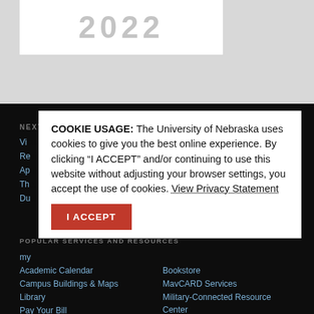[Figure (logo): University logo area showing year 2022 in large gray text on white background]
NEXT STEPS
JUST FOR YOU
COOKIE USAGE: The University of Nebraska uses cookies to give you the best online experience. By clicking “I ACCEPT” and/or continuing to use this website without adjusting your browser settings, you accept the use of cookies. View Privacy Statement
I ACCEPT
POPULAR SERVICES AND RESOURCES
Academic Calendar
Campus Buildings & Maps
Library
Pay Your Bill
Course Catalogs
Bookstore
MavCARD Services
Military-Connected Resource Center
Tech Center
Writing Center